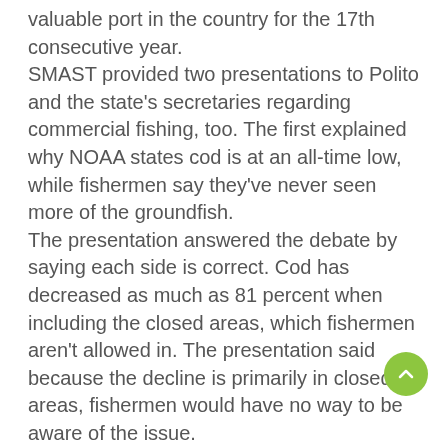valuable port in the country for the 17th consecutive year.
SMAST provided two presentations to Polito and the state's secretaries regarding commercial fishing, too. The first explained why NOAA states cod is at an all-time low, while fishermen say they've never seen more of the groundfish.
The presentation answered the debate by saying each side is correct. Cod has decreased as much as 81 percent when including the closed areas, which fishermen aren't allowed in. The presentation said because the decline is primarily in closed areas, fishermen would have no way to be aware of the issue.
The second presentation showed how video cameras can help stabilize fishing stocks like what's been done with the scallop industry.
Cameras on nets are helping researchers identify fish stocks and better understand the number of fish in an